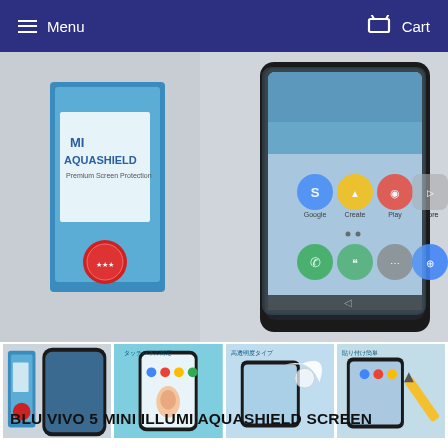Menu  Cart
[Figure (photo): Main product image showing MIAQUASHIELD screen protector product box on the left side and a smartphone with the screen protector applied on the right side, showing Android home screen icons.]
[Figure (photo): Thumbnail 1: Product box and smartphone side by side]
[Figure (photo): Thumbnail 2: Screen protector application on phone with finger touch]
[Figure (photo): Thumbnail 3: Screen protector being peeled off iPhone]
[Figure (photo): Thumbnail 4: Screen protector installation with tool]
BLU VIVO 5 MINI ILLUMI AQUASHIELD SCREEN